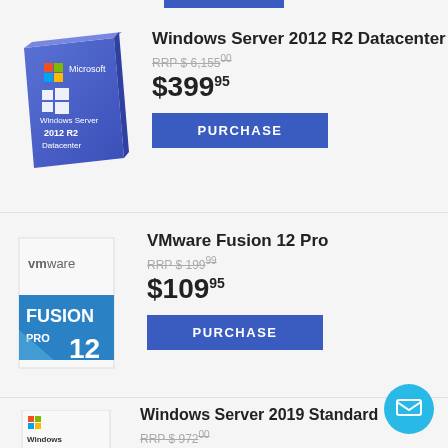[Figure (screenshot): Windows Server 2012 R2 Datacenter product box image (blue Microsoft box)]
Windows Server 2012 R2 Datacenter
RRP $ 6,155.00 (strikethrough)
$399.95
PURCHASE
[Figure (screenshot): VMware Fusion 12 Pro product box image]
VMware Fusion 12 Pro
RRP $ 199.99 (strikethrough)
$109.95
PURCHASE
[Figure (screenshot): Windows Server 2019 Standard product box image (partial, cut off)]
Windows Server 2019 Standard
RRP $ 972.00 (strikethrough)